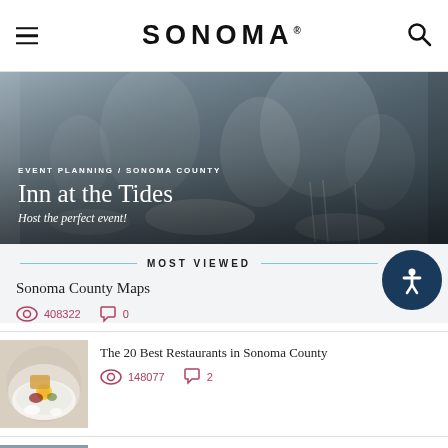SONOMA
[Figure (photo): Banner photo of dining table setting with glasses and plates, dark overlay, showing 'EVENT PLANNING / SONOMA COUNTY — Inn at the Tides — Host the perfect event!']
EVENT PLANNING / SONOMA COUNTY
Inn at the Tides
Host the perfect event!
MOST VIEWED
Sonoma County Maps
408322   0
[Figure (photo): Food photo: plated dish with egg and garnish on white plate]
The 20 Best Restaurants in Sonoma County
148077   2
[Figure (photo): Winery photo: outdoor scene with trees and buildings]
8 Small Production Wineries in Sonoma County